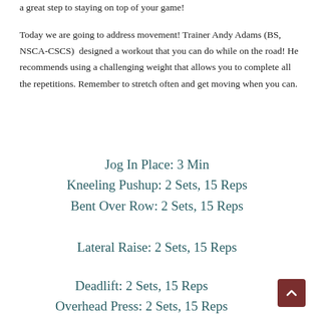a great step to staying on top of your game!
Today we are going to address movement! Trainer Andy Adams (BS, NSCA-CSCS) designed a workout that you can do while on the road! He recommends using a challenging weight that allows you to complete all the repetitions. Remember to stretch often and get moving when you can.
Jog In Place: 3 Min
Kneeling Pushup: 2 Sets, 15 Reps
Bent Over Row: 2 Sets, 15 Reps
Lateral Raise: 2 Sets, 15 Reps
Deadlift: 2 Sets, 15 Reps
Overhead Press: 2 Sets, 15 Reps